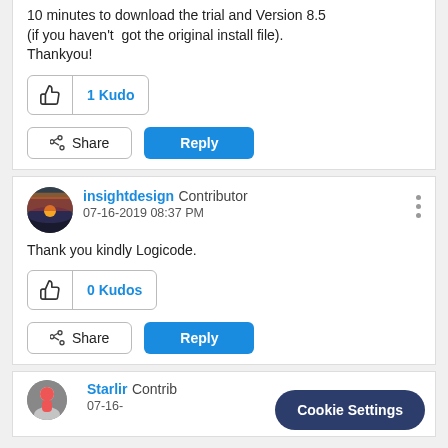10 minutes to download the trial and Version 8.5 (if you haven't got the original install file). Thankyou!
1 Kudo
Share
Reply
insightdesign Contributor
07-16-2019 08:37 PM
Thank you kindly Logicode.
0 Kudos
Share
Reply
Starlir Contrib
07-16-
Cookie Settings